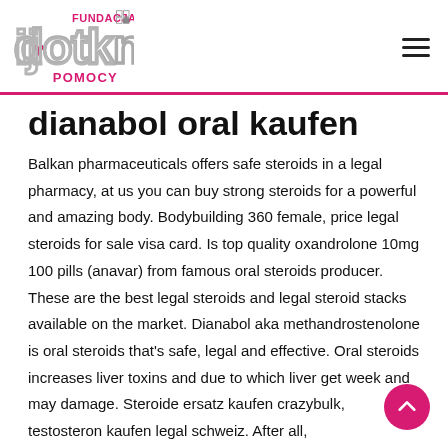Fundacja dotknij pomocy
dianabol oral kaufen
Balkan pharmaceuticals offers safe steroids in a legal pharmacy, at us you can buy strong steroids for a powerful and amazing body. Bodybuilding 360 female, price legal steroids for sale visa card. Is top quality oxandrolone 10mg 100 pills (anavar) from famous oral steroids producer. These are the best legal steroids and legal steroid stacks available on the market. Dianabol aka methandrostenolone is oral steroids that's safe, legal and effective. Oral steroids increases liver toxins and due to which liver get week and may damage. Steroide ersatz kaufen crazybulk, testosteron kaufen legal schweiz. After all,